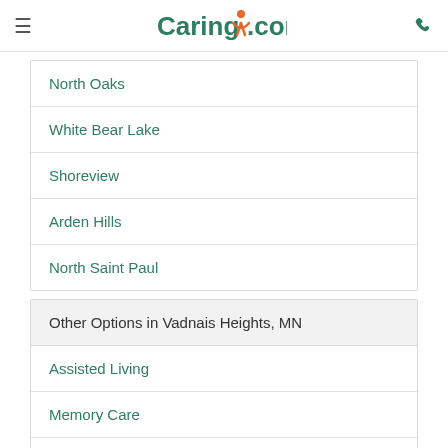Caring.com
North Oaks
White Bear Lake
Shoreview
Arden Hills
North Saint Paul
Other Options in Vadnais Heights, MN
Assisted Living
Memory Care
Home Health Agencies